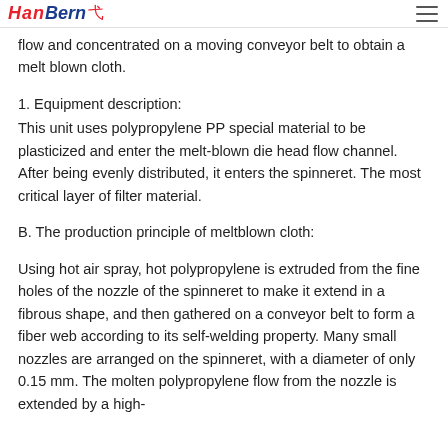HanBern 弋
flow and concentrated on a moving conveyor belt to obtain a melt blown cloth.
1. Equipment description:
This unit uses polypropylene PP special material to be plasticized and enter the melt-blown die head flow channel. After being evenly distributed, it enters the spinneret. The most critical layer of filter material.
B. The production principle of meltblown cloth:
Using hot air spray, hot polypropylene is extruded from the fine holes of the nozzle of the spinneret to make it extend in a fibrous shape, and then gathered on a conveyor belt to form a fiber web according to its self-welding property. Many small nozzles are arranged on the spinneret, with a diameter of only 0.15 mm. The molten polypropylene flow from the nozzle is extended by a high-